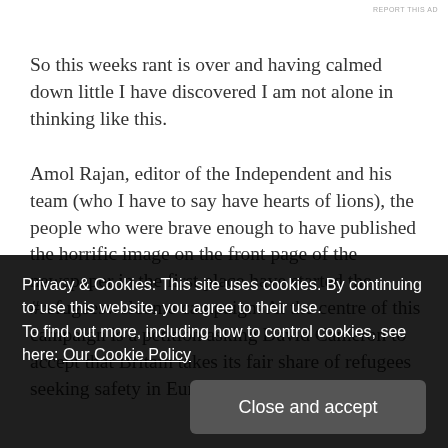REPORT THIS AD
So this weeks rant is over and having calmed down little I have discovered I am not alone in thinking like this.
Amol Rajan, editor of the Independent and his team (who I have to say have hearts of lions), the people who were brave enough to have published the horrific image on the front page of the newspaper in the first place have started the #refugeeswelcome campaign. At the centre of this campaign is a petition asking David Cameron to accept that Britain takes its fair share of refugees seeking safety in Europe. At my last look, it
Privacy & Cookies: This site uses cookies. By continuing to use this website, you agree to their use.
To find out more, including how to control cookies, see here: Our Cookie Policy
more" Syrian refugees, but having a healthy distrust of